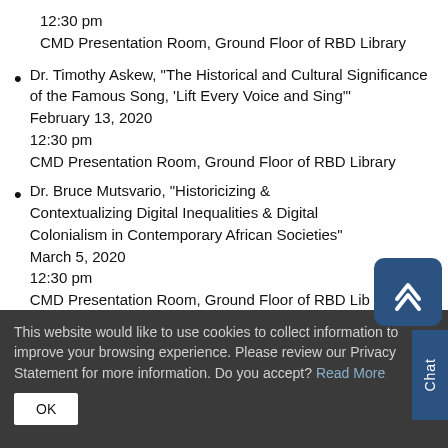12:30 pm
CMD Presentation Room, Ground Floor of RBD Library
Dr. Timothy Askew, "The Historical and Cultural Significance of the Famous Song, 'Lift Every Voice and Sing'"
February 13, 2020
12:30 pm
CMD Presentation Room, Ground Floor of RBD Library
Dr. Bruce Mutsvario, "Historicizing & Contextualizing Digital Inequalities & Digital Colonialism in Contemporary African Societies"
March 5, 2020
12:30 pm
CMD Presentation Room, Ground Floor of RBD Library
Dr. Daren Ray, "The Malindi Inquiry: State Violence,
This website would like to use cookies to collect information to improve your browsing experience. Please review our Privacy Statement for more information. Do you accept? Read More
OK